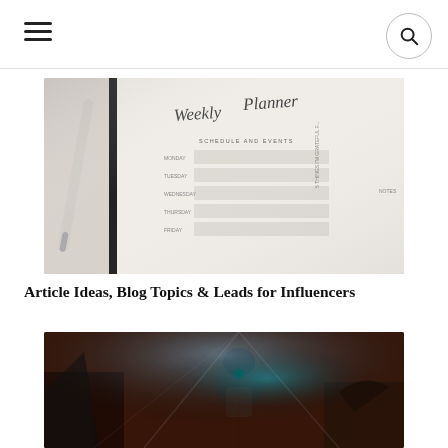[Figure (photo): A close-up photo of a weekly planner/notebook with a stylus pen, showing handwritten script title and form fields with lined boxes.]
Article Ideas, Blog Topics & Leads for Influencers
[Figure (photo): A concert or performance photo showing the back of a person with a bun hairstyle, with dramatic stage lighting and blue/teal light effects.]